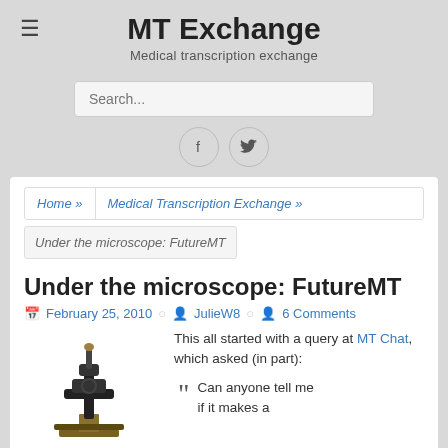MT Exchange
Medical transcription exchange
[Figure (screenshot): Search bar input field with placeholder text 'Search...']
[Figure (illustration): Social media icons: Facebook (f) and Twitter (bird) in circular bordered buttons]
Home » | Medical Transcription Exchange »
Under the microscope: FutureMT
Under the microscope: FutureMT
February 25, 2010   JulieW8   6 Comments
[Figure (photo): Black and gold antique microscope on white background]
This all started with a query at MT Chat, which asked (in part):
Can anyone tell me if it makes a